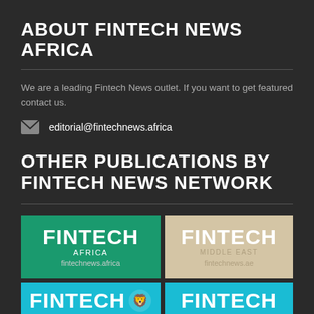ABOUT FINTECH NEWS AFRICA
We are a leading Fintech News outlet. If you want to get featured contact us.
editorial@fintechnews.africa
OTHER PUBLICATIONS BY FINTECH NEWS NETWORK
[Figure (logo): Fintech Africa logo - green background, white text FINTECH, AFRICA, fintechnews.africa]
[Figure (logo): Fintech Middle East logo - tan/beige background, white/muted text FINTECH, MIDDLE EAST, fintechnews.ae]
[Figure (logo): Fintech logo - teal background, white bold FINTECH with lion icon]
[Figure (logo): Fintech logo - teal background, white bold FINTECH]